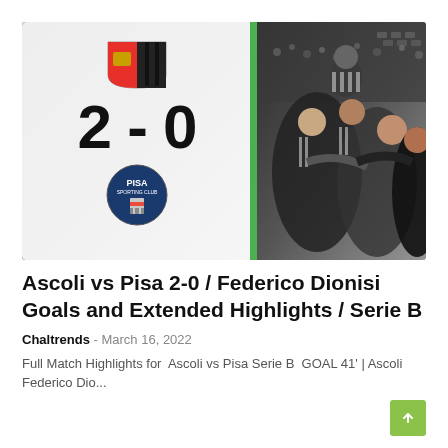[Figure (photo): Thumbnail image showing a football match score overlay: Ascoli vs Pisa 2-0 with team logos on white background, and players celebrating in black and white striped kit on the right side]
Ascoli vs Pisa 2-0 / Federico Dionisi Goals and Extended Highlights / Serie B
Chaltrends - March 16, 2022
Full Match Highlights for  Ascoli vs Pisa Serie B  GOAL 41' | Ascoli  Federico Dio...